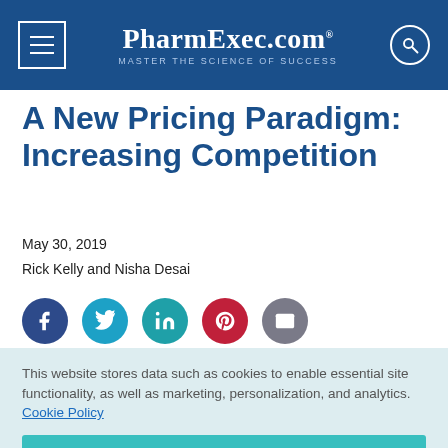PharmExec.com — MASTER THE SCIENCE OF SUCCESS
A New Pricing Paradigm: Increasing Competition
May 30, 2019
Rick Kelly and Nisha Desai
[Figure (infographic): Social sharing icons row: Facebook, Twitter, LinkedIn, Pinterest, Email]
This website stores data such as cookies to enable essential site functionality, as well as marketing, personalization, and analytics. Cookie Policy
Accept
Deny